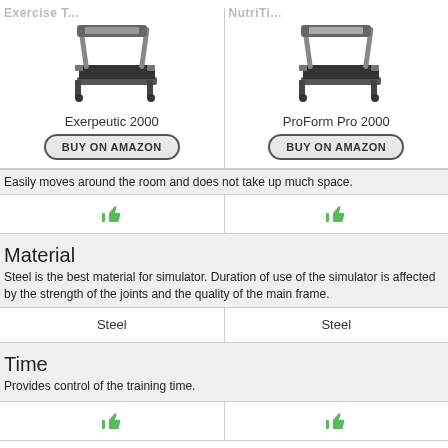[Figure (photo): Exerpeutic 2000 treadmill product image]
Exerpeutic 2000
BUY ON AMAZON
[Figure (photo): ProForm Pro 2000 treadmill product image]
ProForm Pro 2000
BUY ON AMAZON
Easily moves around the room and does not take up much space.
[Figure (illustration): Green thumbs up icon - Exerpeutic 2000]
[Figure (illustration): Green thumbs up icon - ProForm Pro 2000]
Material
Steel is the best material for simulator. Duration of use of the simulator is affected by the strength of the joints and the quality of the main frame.
Steel
Steel
Time
Provides control of the training time.
[Figure (illustration): Green thumbs up icon - Exerpeutic 2000]
[Figure (illustration): Green thumbs up icon - ProForm Pro 2000]